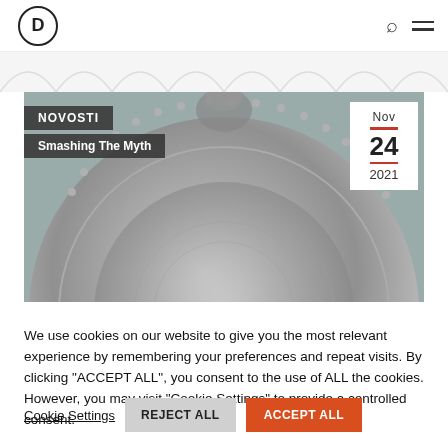D (logo) — search and menu icons
[Figure (photo): Close-up photo of an ornate silver decorative plate or shield with detailed embossed patterns and beaded border. Overlaid with 'NOVOSTI' category label, 'Smashing The Myth' article title, and a date box showing Nov 24 2021.]
We use cookies on our website to give you the most relevant experience by remembering your preferences and repeat visits. By clicking "ACCEPT ALL", you consent to the use of ALL the cookies. However, you may visit "Cookie Settings" to provide a controlled consent.
Cookie Settings  REJECT ALL  ACCEPT ALL